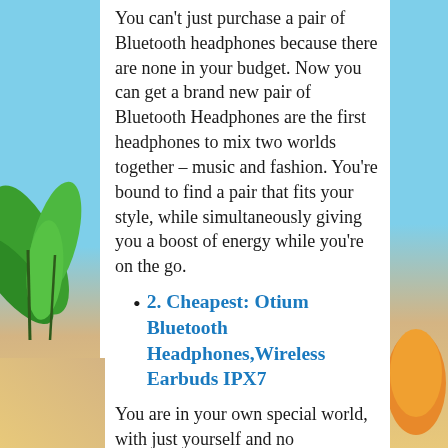You can't just purchase a pair of Bluetooth headphones because there are none in your budget. Now you can get a brand new pair of Bluetooth Headphones are the first headphones to mix two worlds together – music and fashion. You're bound to find a pair that fits your style, while simultaneously giving you a boost of energy while you're on the go.
2. Cheapest: Otium Bluetooth Headphones,Wireless Earbuds IPX7
You are in your own special world, with just yourself and no interference from others – that is until you start to run out of battery on your headphones! These days batteries don't last as long because they have been deemed unsafe for use within electronics so it's important to invest in a good pair of Bluetooth wireless headphones before